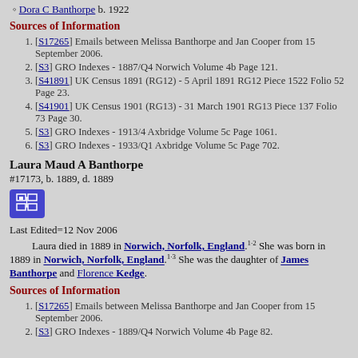Dora C Banthorpe b. 1922
Sources of Information
[S17265] Emails between Melissa Banthorpe and Jan Cooper from 15 September 2006.
[S3] GRO Indexes - 1887/Q4 Norwich Volume 4b Page 121.
[S41891] UK Census 1891 (RG12) - 5 April 1891 RG12 Piece 1522 Folio 52 Page 23.
[S41901] UK Census 1901 (RG13) - 31 March 1901 RG13 Piece 137 Folio 73 Page 30.
[S3] GRO Indexes - 1913/4 Axbridge Volume 5c Page 1061.
[S3] GRO Indexes - 1933/Q1 Axbridge Volume 5c Page 702.
Laura Maud A Banthorpe
#17173, b. 1889, d. 1889
Last Edited=12 Nov 2006
Laura died in 1889 in Norwich, Norfolk, England. She was born in 1889 in Norwich, Norfolk, England. She was the daughter of James Banthorpe and Florence Kedge.
Sources of Information
[S17265] Emails between Melissa Banthorpe and Jan Cooper from 15 September 2006.
[S3] GRO Indexes - 1889/Q4 Norwich Volume 4b Page 82.